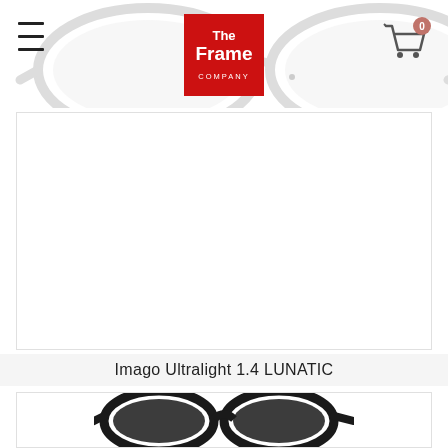[Figure (screenshot): Website header with glasses illustration in background, The Frame Company logo in red, hamburger menu icon on left, shopping cart with 0 badge on right]
[Figure (photo): Product image area for Imago Ultralight 1.4 LUNATIC - empty/white product image box]
Imago Ultralight 1.4 LUNATIC
[Figure (photo): Second product card showing dark eyeglasses at the bottom]